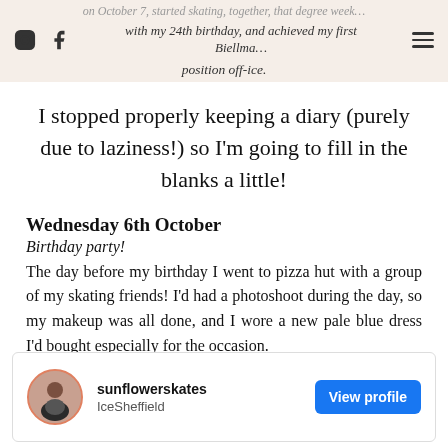on October 7, started skating, together, that degree week… with my 24th birthday, and achieved my first Biellman… position off-ice.
I stopped properly keeping a diary (purely due to laziness!) so I'm going to fill in the blanks a little!
Wednesday 6th October
Birthday party!
The day before my birthday I went to pizza hut with a group of my skating friends! I'd had a photoshoot during the day, so my makeup was all done, and I wore a new pale blue dress I'd bought especially for the occasion.
[Figure (screenshot): Instagram profile card for sunflowerskates at IceSheffield with a View profile button]